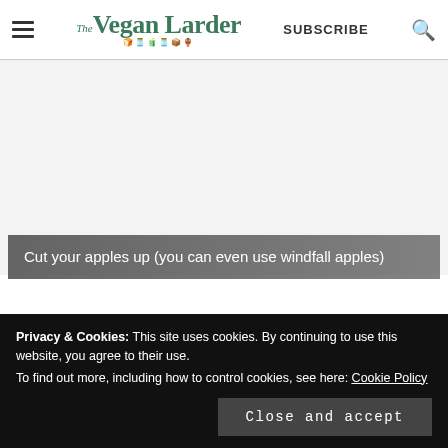The Vegan Larder | SUBSCRIBE
[Figure (photo): Photo of apples, mostly white/blank area visible with a dark gradient caption bar overlay]
Cut your apples up (you can even use windfall apples)
Privacy & Cookies: This site uses cookies. By continuing to use this website, you agree to their use.
To find out more, including how to control cookies, see here: Cookie Policy
Close and accept